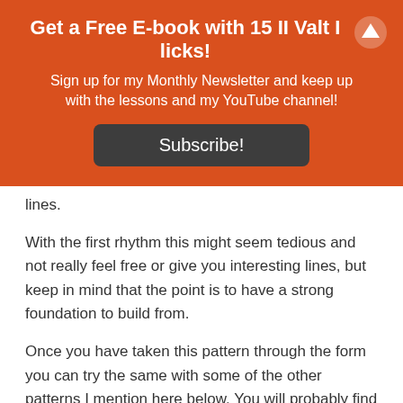Get a Free E-book with 15 II Valt I licks!
Sign up for my Monthly Newsletter and keep up with the lessons and my YouTube channel!
Subscribe!
lines.
With the first rhythm this might seem tedious and not really feel free or give you interesting lines, but keep in mind that the point is to have a strong foundation to build from.
Once you have taken this pattern through the form you can try the same with some of the other patterns I mention here below. You will probably find that you have a much easier time doing the next rhythms when you have worked thoroughly on the first one. That was at least my experience.
While playing the patterns you can also immediately start to